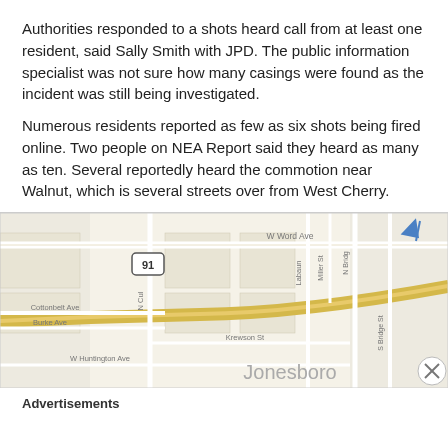Authorities responded to a shots heard call from at least one resident, said Sally Smith with JPD. The public information specialist was not sure how many casings were found as the incident was still being investigated.
Numerous residents reported as few as six shots being fired online. Two people on NEA Report said they heard as many as ten. Several reportedly heard the commotion near Walnut, which is several streets over from West Cherry.
[Figure (map): Street map of Jonesboro area showing W Word Ave, N Culberhouse, Labaun, Miller St, N Bridge, Cottonbelt Ave, Burke Ave, Krewson St, W Huntington Ave, S Bridge St, with route 91 marker and navigation arrow.]
Advertisements